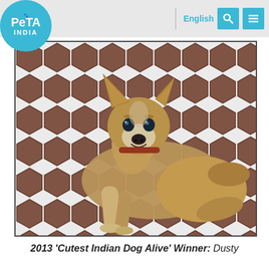PETA INDIA | English
[Figure (photo): A tan/golden Indian stray dog with blue eyes lying on a hexagonal brick floor, looking up at the camera with a slight smile. The dog has a reddish-brown collar and white markings on its face and legs.]
2013 ‘Cutest Indian Dog Alive’ Winner: Dusty